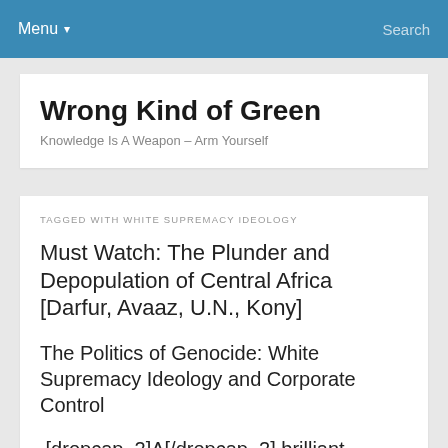Menu ▾   Search
Wrong Kind of Green
Knowledge Is A Weapon – Arm Yourself
TAGGED WITH WHITE SUPREMACY IDEOLOGY
Must Watch: The Plunder and Depopulation of Central Africa [Darfur, Avaaz, U.N., Kony]
The Politics of Genocide: White Supremacy Ideology and Corporate Control
[dropcap_2]A[/dropcap_2] brilliant lecture by